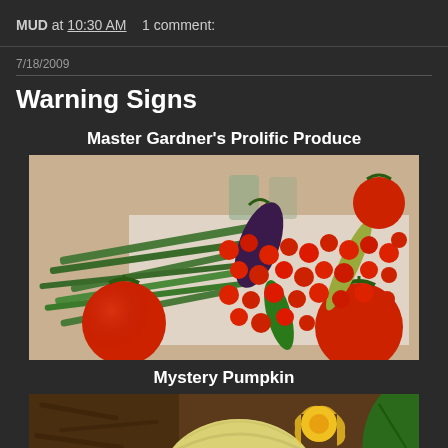MUD at 10:30 AM    1 comment:
7/18/2009
Warning Signs
Master Gardner's Prolific Produce
[Figure (photo): A pile of garden vegetables on a white surface including large red tomatoes, cherry tomatoes, green beans, peppers including jalapeños and a dark purple pepper, photographed indoors.]
Mystery Pumpkin
[Figure (photo): A garden photo showing a round pale yellow/white pumpkin or squash on the ground with yellow flowers and large green leaves visible.]